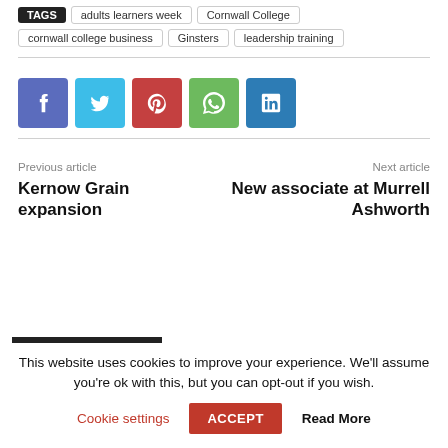TAGS | adults learners week | Cornwall College | cornwall college business | Ginsters | leadership training
[Figure (other): Social sharing buttons: Facebook (blue-purple), Twitter (light blue), Pinterest (red), WhatsApp (green), LinkedIn (blue)]
Previous article
Kernow Grain expansion
Next article
New associate at Murrell Ashworth
This website uses cookies to improve your experience. We'll assume you're ok with this, but you can opt-out if you wish.
Cookie settings | ACCEPT | Read More